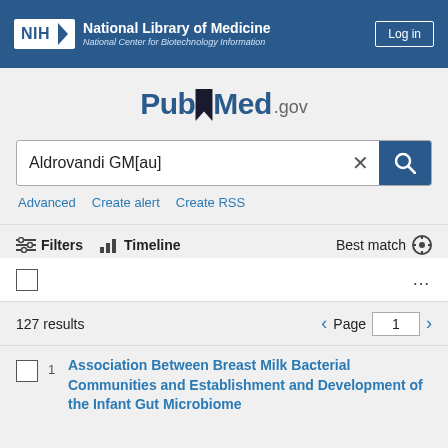[Figure (logo): NIH National Library of Medicine / National Center for Biotechnology Information header bar with Log in button]
[Figure (logo): PubMed.gov logo with bookmark icon]
Aldrovandi GM[au]
Advanced   Create alert   Create RSS
Filters   Timeline   Best match
127 results   Page 1
Association Between Breast Milk Bacterial Communities and Establishment and Development of the Infant Gut Microbiome